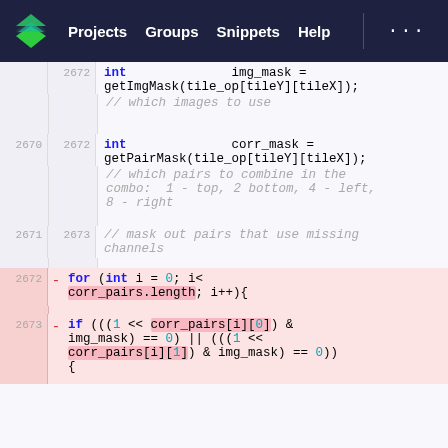Projects  Groups  Snippets  Help
int img_mask = getImgMask(tile_op[tileY][tileX]);
// which images to use

int corr_mask = getPairMask(tile_op[tileY][tileX]);
// which pairs to combine in the combo: 1 - top, 2 bottom, 4 - left, 8 - right

// mask out pairs that use missing channels

- for (int i = 0; i< corr_pairs.length; i++){
- if ((((1 << corr_pairs[i][0]) & img_mask) == 0) || (((1 << corr_pairs[i][1]) & img_mask) == 0)) {